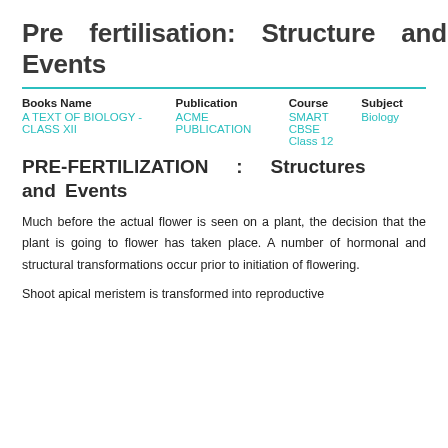Pre fertilisation: Structure and Events
| Books Name | Publication | Course | Subject |
| --- | --- | --- | --- |
| A TEXT OF BIOLOGY - CLASS XII | ACME PUBLICATION SMART | CBSE Class 12 | Biology |
PRE-FERTILIZATION : Structures and Events
Much before the actual flower is seen on a plant, the decision that the plant is going to flower has taken place. A number of hormonal and structural transformations occur prior to initiation of flowering.
Shoot apical meristem is transformed into reproductive